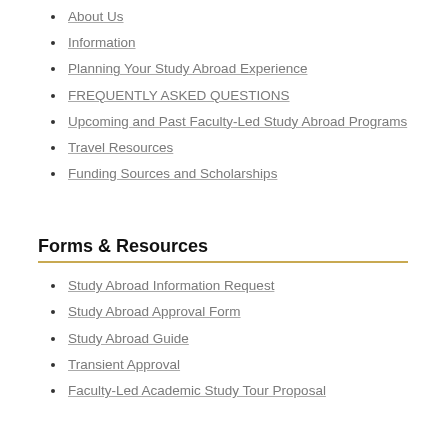About Us
Information
Planning Your Study Abroad Experience
FREQUENTLY ASKED QUESTIONS
Upcoming and Past Faculty-Led Study Abroad Programs
Travel Resources
Funding Sources and Scholarships
Forms & Resources
Study Abroad Information Request
Study Abroad Approval Form
Study Abroad Guide
Transient Approval
Faculty-Led Academic Study Tour Proposal